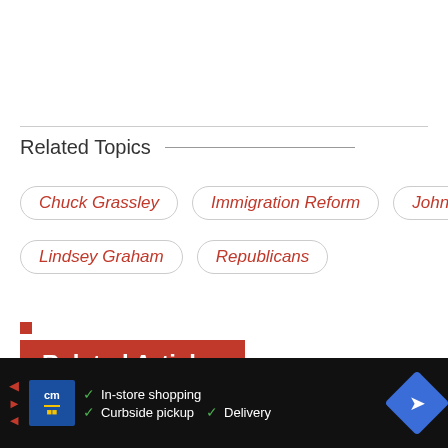Related Topics
Chuck Grassley
Immigration Reform
John Mccain
Lindsey Graham
Republicans
Related Articles
[Figure (photo): Partial photo visible behind dashed card border]
In-store shopping  Curbside pickup  Delivery